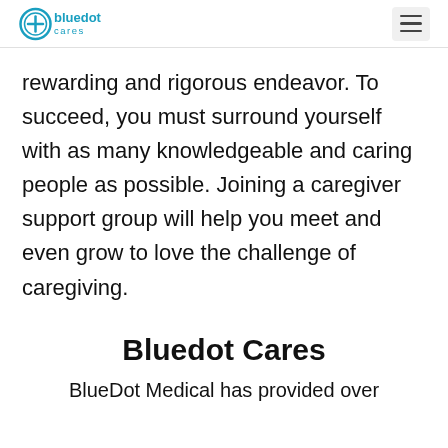bluedot cares
rewarding and rigorous endeavor. To succeed, you must surround yourself with as many knowledgeable and caring people as possible. Joining a caregiver support group will help you meet and even grow to love the challenge of caregiving.
Bluedot Cares
BlueDot Medical has provided over